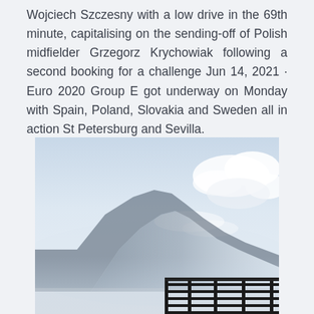Wojciech Szczesny with a low drive in the 69th minute, capitalising on the sending-off of Polish midfielder Grzegorz Krychowiak following a second booking for a challenge Jun 14, 2021 · Euro 2020 Group E got underway on Monday with Spain, Poland, Slovakia and Sweden all in action St Petersburg and Sevilla.
[Figure (photo): Outdoor landscape photo showing a mountain silhouette on the left side against a pale blue hazy sky with clouds, and in the lower right portion a dark metal gate or fence structure.]